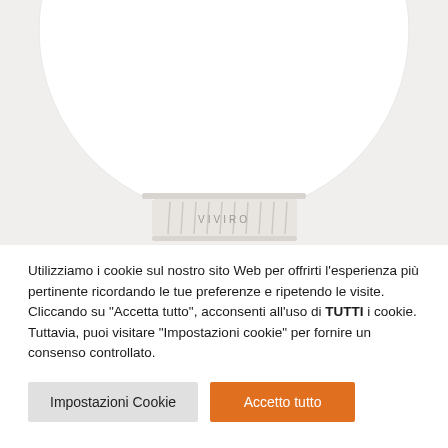[Figure (photo): Close-up photo of a white spherical smart home device (globe-shaped LED bulb or sensor) with 'VIVIRO' branding on the base, showing vented plastic base ring, against a light grey/white background.]
Utilizziamo i cookie sul nostro sito Web per offrirti l'esperienza più pertinente ricordando le tue preferenze e ripetendo le visite. Cliccando su "Accetta tutto", acconsenti all'uso di TUTTI i cookie. Tuttavia, puoi visitare "Impostazioni cookie" per fornire un consenso controllato.
Impostazioni Cookie
Accetto tutto